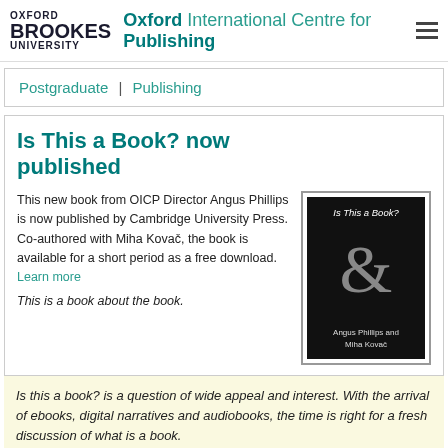OXFORD BROOKES UNIVERSITY — Oxford International Centre for Publishing
Postgraduate | Publishing
Is This a Book? now published
This new book from OICP Director Angus Phillips is now published by Cambridge University Press. Co-authored with Miha Kovač, the book is available for a short period as a free download.
This is a book about the book.
[Figure (photo): Book cover of 'Is This a Book?' by Angus Phillips and Miha Kovač — black background with large grey ampersand symbol]
Is this a book? is a question of wide appeal and interest. With the arrival of ebooks, digital narratives and audiobooks, the time is right for a fresh discussion of what is a book.